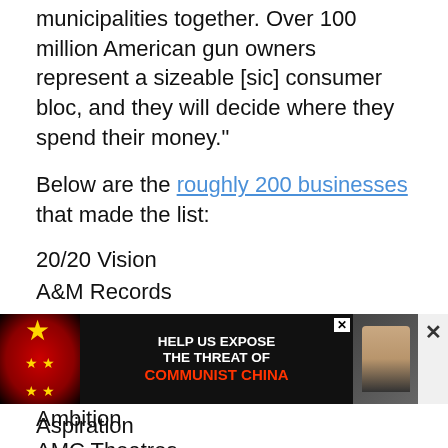municipalities together. Over 100 million American gun owners represent a sizeable [sic] consumer bloc, and they will decide where they spend their money."
Below are the roughly 200 businesses that made the list:
20/20 Vision
A&M Records
AlleyCorp
Alphabet, Inc.
Amalgamated Bank
Ambition
AMC Theatres
AOL / Time Warner
Ariel Investments LLC
[Figure (other): Advertisement banner: 'HELP US EXPOSE THE THREAT OF COMMUNIST CHINA' with Chinese flag imagery and a photo of a person, with a close X button]
Aspiration